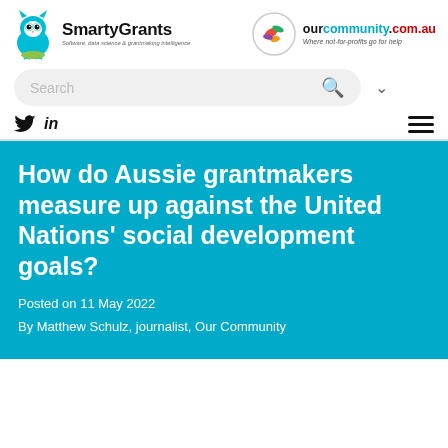[Figure (logo): SmartyGrants logo with teal owl and text 'SmartyGrants' with tagline 'Software, data science & grantmaking intelligence']
[Figure (logo): OurCommunity.com.au logo with circular hummingbird illustration and text 'ourcommunity.com.au - Where not-for-profits go for help']
[Figure (screenshot): Search bar with magnifying glass icon and dropdown arrow]
[Figure (infographic): Social media icons: Twitter bird icon and LinkedIn 'in' text, plus hamburger menu icon]
How do Aussie grantmakers measure up against the United Nations' social development goals?
Posted on 11 May 2022
By Matthew Schulz, journalist, Our Community